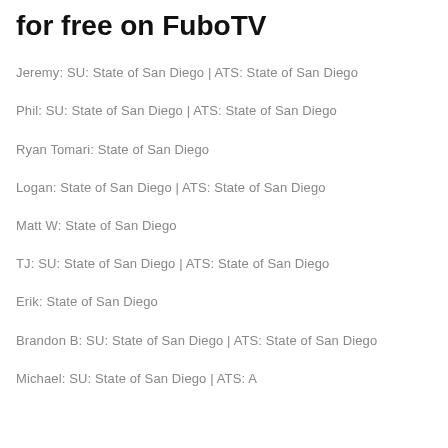for free on FuboTV
Jeremy: SU: State of San Diego | ATS: State of San Diego
Phil: SU: State of San Diego | ATS: State of San Diego
Ryan Tomari: State of San Diego
Logan: State of San Diego | ATS: State of San Diego
Matt W: State of San Diego
TJ: SU: State of San Diego | ATS: State of San Diego
Erik: State of San Diego
Brandon B: SU: State of San Diego | ATS: State of San Diego
Michael: SU: State of San Diego | ATS: A...